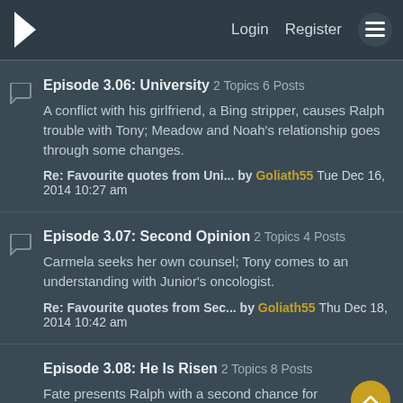Login Register ☰
Episode 3.06: University 2 Topics 6 Posts — A conflict with his girlfriend, a Bing stripper, causes Ralph trouble with Tony; Meadow and Noah's relationship goes through some changes. Re: Favourite quotes from Uni... by Goliath55 Tue Dec 16, 2014 10:27 am
Episode 3.07: Second Opinion 2 Topics 4 Posts — Carmela seeks her own counsel; Tony comes to an understanding with Junior's oncologist. Re: Favourite quotes from Sec... by Goliath55 Thu Dec 18, 2014 10:42 am
Episode 3.08: He Is Risen 2 Topics 8 Posts — Fate presents Ralph with a second chance for